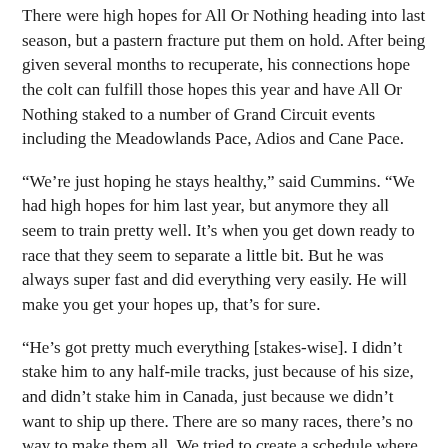There were high hopes for All Or Nothing heading into last season, but a pastern fracture put them on hold. After being given several months to recuperate, his connections hope the colt can fulfill those hopes this year and have All Or Nothing staked to a number of Grand Circuit events including the Meadowlands Pace, Adios and Cane Pace.
“We’re just hoping he stays healthy,” said Cummins. “We had high hopes for him last year, but anymore they all seem to train pretty well. It’s when you get down ready to race that they seem to separate a little bit. But he was always super fast and did everything very easily. He will make you get your hopes up, that’s for sure.
“He’s got pretty much everything [stakes-wise]. I didn’t stake him to any half-mile tracks, just because of his size, and didn’t stake him in Canada, just because we didn’t want to ship up there. There are so many races, there’s no way to make them all. We tried to create a schedule where he wouldn’t have to ship a lot and could stay on tracks that are good for him, the bigger tracks. We’ll just see what happens.”